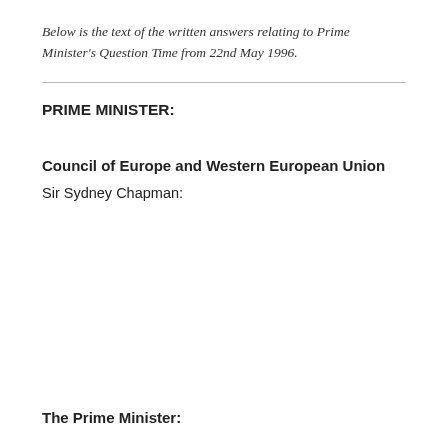Below is the text of the written answers relating to Prime Minister’s Question Time from 22nd May 1996.
PRIME MINISTER:
Council of Europe and Western European Union
Sir Sydney Chapman:
The Prime Minister: